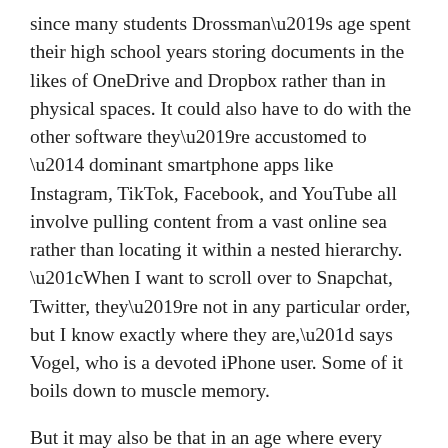since many students Drossman's age spent their high school years storing documents in the likes of OneDrive and Dropbox rather than in physical spaces. It could also have to do with the other software they're accustomed to — dominant smartphone apps like Instagram, TikTok, Facebook, and YouTube all involve pulling content from a vast online sea rather than locating it within a nested hierarchy. “When I want to scroll over to Snapchat, Twitter, they're not in any particular order, but I know exactly where they are,” says Vogel, who is a devoted iPhone user. Some of it boils down to muscle memory.
But it may also be that in an age where every conceivable user interface includes a search function, young people have never needed folders or directories for the tasks they do. The first internet search engines were used around 1990,